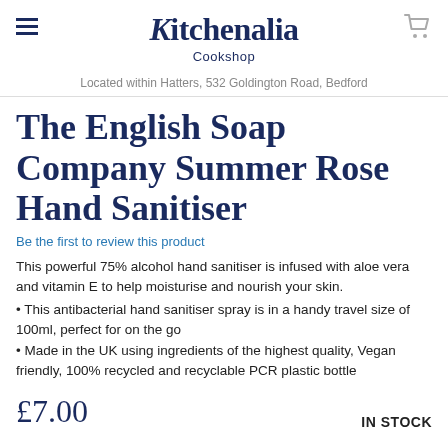Kitchenalia Cookshop — Located within Hatters, 532 Goldington Road, Bedford
The English Soap Company Summer Rose Hand Sanitiser
Be the first to review this product
This powerful 75% alcohol hand sanitiser is infused with aloe vera and vitamin E to help moisturise and nourish your skin.
This antibacterial hand sanitiser spray is in a handy travel size of 100ml, perfect for on the go
Made in the UK using ingredients of the highest quality, Vegan friendly, 100% recycled and recyclable PCR plastic bottle
£7.00   IN STOCK